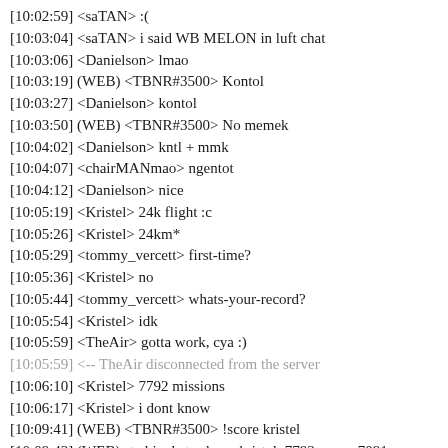[10:02:59] <saTAN> :(
[10:03:04] <saTAN> i said WB MELON in luft chat
[10:03:06] <Danielson> lmao
[10:03:19] (WEB) <TBNR#3500> Kontol
[10:03:27] <Danielson> kontol
[10:03:50] (WEB) <TBNR#3500> No memek
[10:04:02] <Danielson> kntl + mmk
[10:04:07] <chairMANmao> ngentot
[10:04:12] <Danielson> nice
[10:05:19] <Kristel> 24k flight :c
[10:05:26] <Kristel> 24km*
[10:05:29] <tommy_vercett> first-time?
[10:05:36] <Kristel> no
[10:05:44] <tommy_vercett> whats-your-record?
[10:05:54] <Kristel> idk
[10:05:59] <TheAir> gotta work, cya :)
[10:05:59] <-- TheAir disconnected from the server
[10:06:10] <Kristel> 7792 missions
[10:06:17] <Kristel> i dont know
[10:09:41] (WEB) <TBNR#3500> !score kristel
[10:09:43] (WEB) <robin_be> player kristel: 7793 score, 7091 missions: 29%. courier - 24%. cargo drop - 16%. military
[10:10:04] (WEB) <TBNR#3500> Liar 7091 missions lmao
[10:11:13] (WEB) <TBNR#3500> Oh that was like 4 min ago nvm
[10:12:03] <Kristel> lmaoo